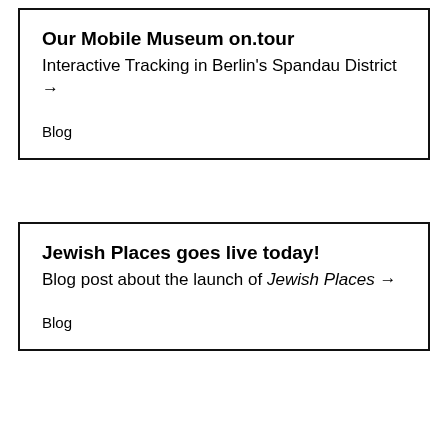Our Mobile Museum on.tour
Interactive Tracking in Berlin's Spandau District →
Blog
Jewish Places goes live today!
Blog post about the launch of Jewish Places →
Blog